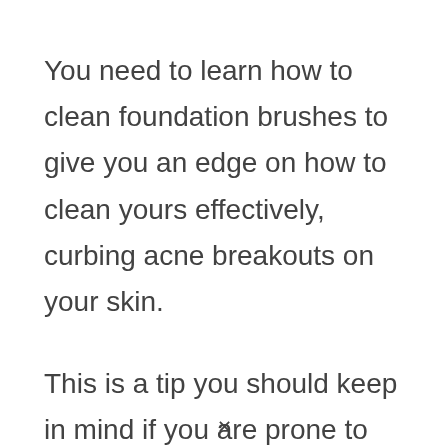You need to learn how to clean foundation brushes to give you an edge on how to clean yours effectively, curbing acne breakouts on your skin.
This is a tip you should keep in mind if you are prone to acne or have oily skin. If your brush is clean, you can prevent bacteria from spreading on your face, which delays breakouts.